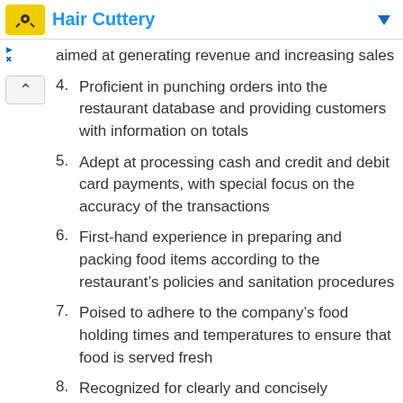Hair Cuttery
aimed at generating revenue and increasing sales
4. Proficient in punching orders into the restaurant database and providing customers with information on totals
5. Adept at processing cash and credit and debit card payments, with special focus on the accuracy of the transactions
6. First-hand experience in preparing and packing food items according to the restaurant’s policies and sanitation procedures
7. Poised to adhere to the company’s food holding times and temperatures to ensure that food is served fresh
8. Recognized for clearly and concisely communicating product knowledge and